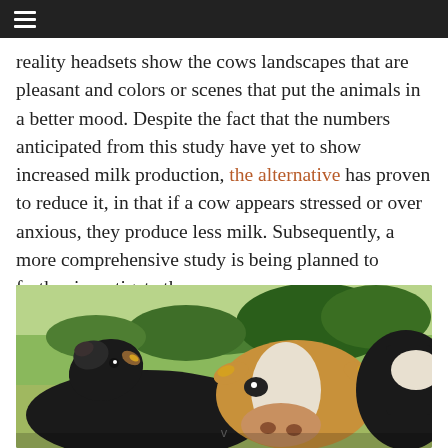☰ (navigation menu icon)
reality headsets show the cows landscapes that are pleasant and colors or scenes that put the animals in a better mood. Despite the fact that the numbers anticipated from this study have yet to show increased milk production, the alternative has proven to reduce it, in that if a cow appears stressed or over anxious, they produce less milk. Subsequently, a more comprehensive study is being planned to further investigate the process.
[Figure (photo): Photograph of two cows close-up in a green field. A black cow on the left looks upward, and a brown-and-white cow in the center-right faces the camera. Both have yellow ear tags. Green grass and trees are visible in the background.]
v